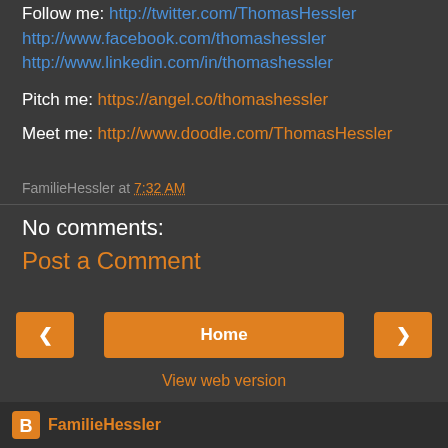Follow me: http://twitter.com/ThomasHessler http://www.facebook.com/thomashessler http://www.linkedin.com/in/thomashessler
Pitch me: https://angel.co/thomashessler
Meet me: http://www.doodle.com/ThomasHessler
FamilieHessler at 7:32 AM
No comments:
Post a Comment
‹  Home  ›
View web version
FamilieHessler